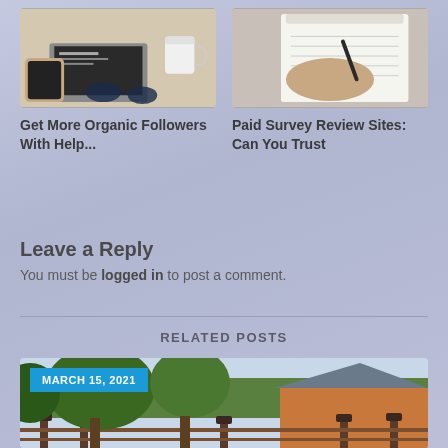[Figure (photo): Photo of hands holding a phone with laptop and coffee mug in background]
Get More Organic Followers With Help...
[Figure (photo): Photo of hands writing on a notepad]
Paid Survey Review Sites: Can You Trust
Leave a Reply
You must be logged in to post a comment.
RELATED POSTS
[Figure (photo): Photo of a house with trees and a fence, dated March 15, 2021]